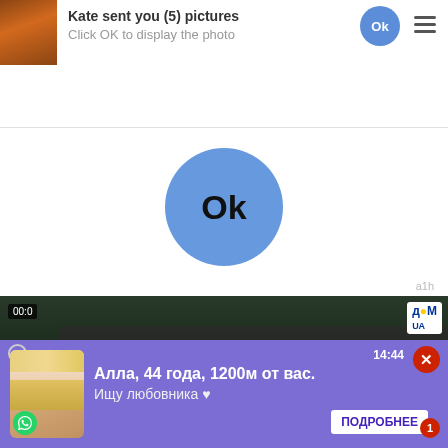[Figure (screenshot): Notification popup: 'Kate sent you (5) pictures' with OK button and hamburger menu]
Kate sent you (5) pictures
Click OK to display the photo
[Figure (screenshot): Large blue OK circle button in center of white popup area]
a1h
[Figure (screenshot): News video background showing military vehicle, Ukrainian text overlays and DOM UA logo]
00:0
90 ДНІВ ВІЙНИ
УКРАЇНСЬКА АРМІЯ ГОТОВА ЗАВДАТИ ПОРАЗКИ
Ads by Clickadilla
Skip in 5 seconds ✕
[Figure (screenshot): Bottom ad notification with blonde woman photo, text about Alla 44 years old, ПОДРОБНЕЕ button on purple background]
Алла, 44 года, 1200м от вас.
Ищу любовника ♥
ПОДРОБНЕЕ
14:44